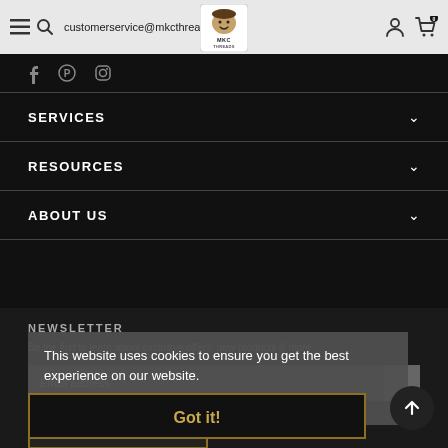customerservice@mkcthreads.com
[Figure (logo): MKC Threads logo — cartoon face above text MKC THREADS]
SERVICES
RESOURCES
ABOUT US
NEWSLETTER
Be the first to learn about exclusive offers, new products & more.
This website uses cookies to ensure you get the best experience on our website.
Learn More
Got it!